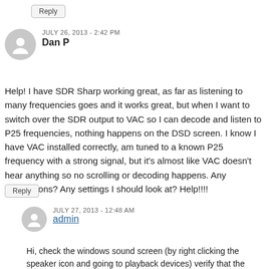Reply
JULY 26, 2013 - 2:42 PM
Dan P
Help! I have SDR Sharp working great, as far as listening to many frequencies goes and it works great, but when I want to switch over the SDR output to VAC so I can decode and listen to P25 frequencies, nothing happens on the DSD screen. I know I have VAC installed correctly, am tuned to a known P25 frequency with a strong signal, but it's almost like VAC doesn't hear anything so no scrolling or decoding happens. Any suggestions? Any settings I should look at? Help!!!!
Reply
JULY 27, 2013 - 12:48 AM
admin
Hi, check the windows sound screen (by right clicking the speaker icon and going to playback devices) verify that the volume meter for VAC is showing sound output. The other thing is to make 100% sure that VAC